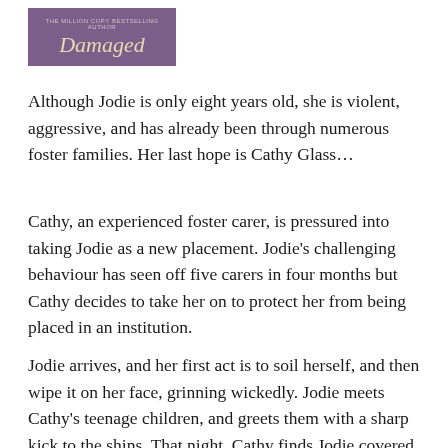[Figure (logo): Purple/mauve rectangular logo with small text 'THE MILLION COPY BESTSELLING AUTHOR' above the script word 'Damaged' in gold/cream italic lettering on a purple background]
Although Jodie is only eight years old, she is violent, aggressive, and has already been through numerous foster families. Her last hope is Cathy Glass…
Cathy, an experienced foster carer, is pressured into taking Jodie as a new placement. Jodie's challenging behaviour has seen off five carers in four months but Cathy decides to take her on to protect her from being placed in an institution.
Jodie arrives, and her first act is to soil herself, and then wipe it on her face, grinning wickedly. Jodie meets Cathy's teenage children, and greets them with a sharp kick to the shins. That night, Cathy finds Jodie covered in